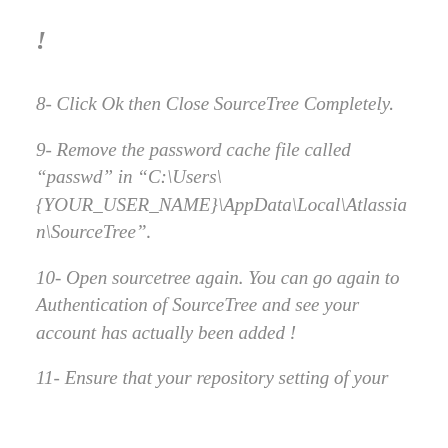!
8- Click Ok then Close SourceTree Completely.
9- Remove the password cache file called “passwd” in “C:\Users\{YOUR_USER_NAME}\AppData\Local\Atlassian\SourceTree”.
10- Open sourcetree again. You can go again to Authentication of SourceTree and see your account has actually been added !
11- Ensure that your repository setting of your